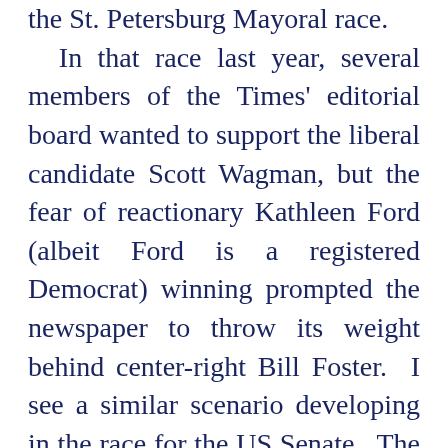the St. Petersburg Mayoral race. In that race last year, several members of the Times' editorial board wanted to support the liberal candidate Scott Wagman, but the fear of reactionary Kathleen Ford (albeit Ford is a registered Democrat) winning prompted the newspaper to throw its weight behind center-right Bill Foster. I see a similar scenario developing in the race for the US Senate. The editorial board's most liberal members will push for an endorsement of Meek, but if the race is a dead heat behind the reactionary